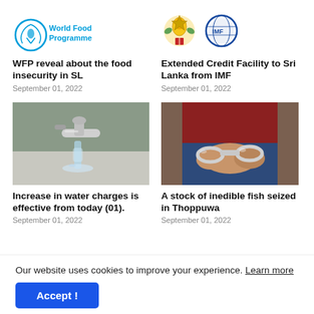[Figure (logo): WFP (World Food Programme) logo with text]
[Figure (logo): Sri Lanka national emblem logo]
[Figure (logo): IMF (International Monetary Fund) logo, partially visible]
WFP reveal about the food insecurity in SL
September 01, 2022
Extended Credit Facility to Sri Lanka from IMF
September 01, 2022
[Figure (photo): Photo of a water tap with running water]
Increase in water charges is effective from today (01).
September 01, 2022
[Figure (photo): Photo of person's hands in handcuffs]
A stock of inedible fish seized in Thoppuwa
September 01, 2022
Our website uses cookies to improve your experience. Learn more